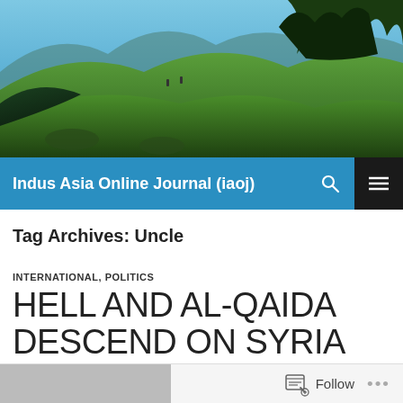[Figure (photo): Scenic landscape with lush green hills, trees, and blue sky in the background — website hero/banner image]
Indus Asia Online Journal (iaoj)
Tag Archives: Uncle
INTERNATIONAL, POLITICS
HELL AND AL-QAIDA DESCEND ON SYRIA
31/07/2012   LEAVE A COMMENT